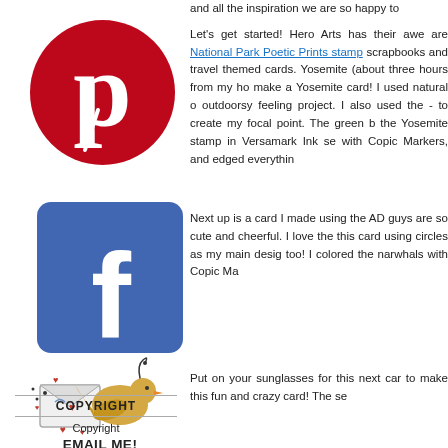[Figure (logo): Pinterest logo — red circle with white lowercase 'p']
[Figure (logo): Facebook logo — blue rounded square with white lowercase 'f']
[Figure (illustration): Cute cartoon bird holding an envelope with hearts, email illustration]
EMAIL ME!
COPYRIGHT
Copyright
and all the inspiration we are so happy to
Let's get started! Hero Arts has their awe are National Park Poetic Prints stamp scrapbooks and travel themed cards. Yosemite (about three hours from my ho make a Yosemite card! I used natural o outdoorsy feeling project. I also used the - to create my focal point. The green b the Yosemite stamp in Versamark Ink se with Copic Markers, and edged everythin
Next up is a card I made using the AD guys are so cute and cheerful. I love the this card using circles as my main desig too! I colored the narwhals with Copic Ma
Put on your sunglasses for this next car to make this fun and crazy card! The se